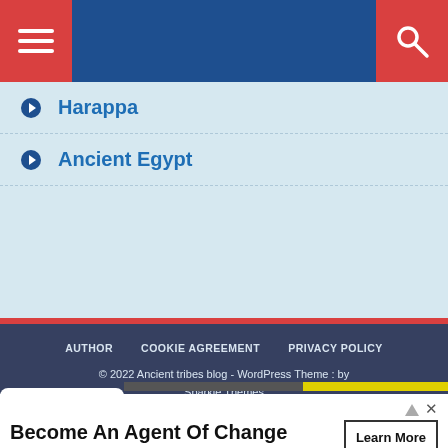Navigation header with menu and search buttons
Harappa
Ancient Egypt
AUTHOR   COOKIE AGREEMENT   PRIVACY POLICY
© 2022 Ancient tribes blog - WordPress Theme : by Sparkle Themes
[Figure (screenshot): Cookie consent popup with chevron/down arrow]
Become An Agent Of Change
Tackle the urgent issues of our time by exploring the
Learn More